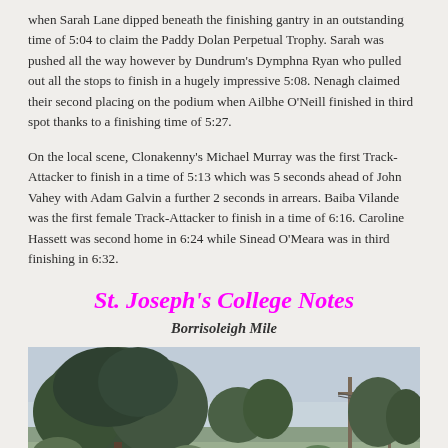when Sarah Lane dipped beneath the finishing gantry in an outstanding time of 5:04 to claim the Paddy Dolan Perpetual Trophy. Sarah was pushed all the way however by Dundrum's Dymphna Ryan who pulled out all the stops to finish in a hugely impressive 5:08. Nenagh claimed their second placing on the podium when Ailbhe O'Neill finished in third spot thanks to a finishing time of 5:27.
On the local scene, Clonakenny's Michael Murray was the first Track-Attacker to finish in a time of 5:13 which was 5 seconds ahead of John Vahey with Adam Galvin a further 2 seconds in arrears. Baiba Vilande was the first female Track-Attacker to finish in a time of 6:16. Caroline Hassett was second home in 6:24 while Sinead O'Meara was in third finishing in 6:32.
St. Joseph's College Notes
Borrisoleigh Mile
[Figure (photo): Outdoor photograph showing trees and utility poles against a light sky, taken in what appears to be a rural or small-town setting.]